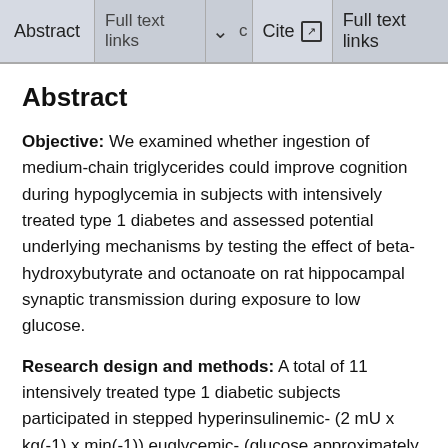Abstract | Full text links | ∨ | c | Cite | Full text links
Abstract
Objective: We examined whether ingestion of medium-chain triglycerides could improve cognition during hypoglycemia in subjects with intensively treated type 1 diabetes and assessed potential underlying mechanisms by testing the effect of beta-hydroxybutyrate and octanoate on rat hippocampal synaptic transmission during exposure to low glucose.
Research design and methods: A total of 11 intensively treated type 1 diabetic subjects participated in stepped hyperinsulinemic- (2 mU x kg(-1) x min(-1)) euglycemic- (glucose approximately 5.5 mmol/l) hypoglycemic (glucose approximately 2.8 mmol/l) clamp studies. During two separate sessions, they randomly received either medium-chain triglycerides or placebo drinks and